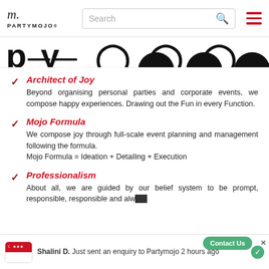PARTYMOJO. [Search] [hamburger menu]
[Figure (photo): Partially visible banner/header strip showing large bold letters and circular shapes at the top of the page content]
Architect of Joy — Beyond organising personal parties and corporate events, we compose happy experiences. Drawing out the Fun in every Function.
Mojo Formula — We compose joy through full-scale event planning and management following the formula. Mojo Formula = Ideation + Detailing + Execution
Professionalism — About all, we are guided by our belief system to be prompt, responsible, responsible and alwa...
Shalini D. Just sent an enquiry to Partymojo 2 hours ago | Contact Us